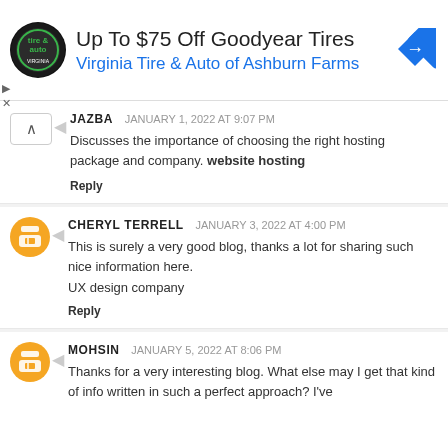[Figure (other): Advertisement banner: circular tire & auto logo, heading 'Up To $75 Off Goodyear Tires', subheading 'Virginia Tire & Auto of Ashburn Farms', blue diamond navigation icon]
JAZBA  JANUARY 1, 2022 AT 9:07 PM
Discusses the importance of choosing the right hosting package and company. website hosting
Reply
CHERYL TERRELL  JANUARY 3, 2022 AT 4:00 PM
This is surely a very good blog, thanks a lot for sharing such nice information here.
UX design company
Reply
MOHSIN  JANUARY 5, 2022 AT 8:06 PM
Thanks for a very interesting blog. What else may I get that kind of info written in such a perfect approach? I've